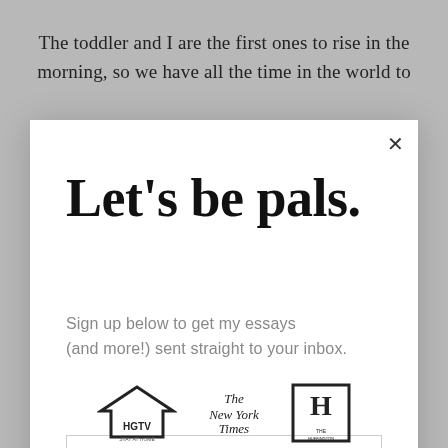The toddler and I are the first ones to rise in the morning, so we have all the time in the world to
Let's be pals.
Sign up below to get my essays (and more!) sent straight to your inbox.
Email address
Subscribe
[Figure (logo): HGTV logo, The New York Times logo, and The Huffington Post logo shown at bottom of page]